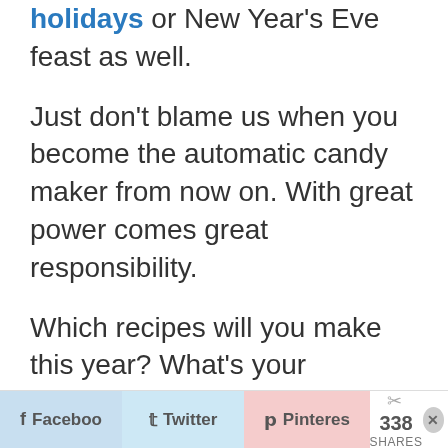holidays or New Year's Eve feast as well.
Just don't blame us when you become the automatic candy maker from now on. With great power comes great responsibility.
Which recipes will you make this year? What's your favorite? Let us know in the comments!
Happy Holidays!
Facebook  Twitter  Pinterest  338 SHARES